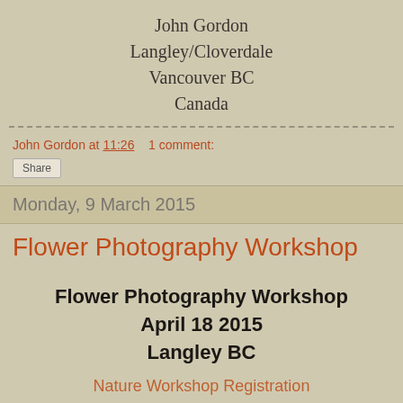John Gordon
Langley/Cloverdale
Vancouver BC
Canada
John Gordon at 11:26   1 comment:
Share
Monday, 9 March 2015
Flower Photography Workshop
Flower Photography Workshop
April 18 2015
Langley BC
Nature Workshop Registration